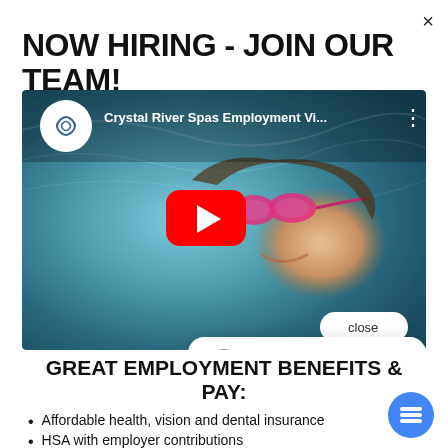NOW HIRING - JOIN OUR TEAM!
[Figure (screenshot): YouTube video thumbnail showing a swimmer underwater with pink goggles, title 'Crystal River Spas Employment Vi...' with YouTube play button overlay and a 'close' pill button]
GREAT EMPLOYMENT BENEFITS & PAY:
Affordable health, vision and dental insurance
HSA with employer contributions